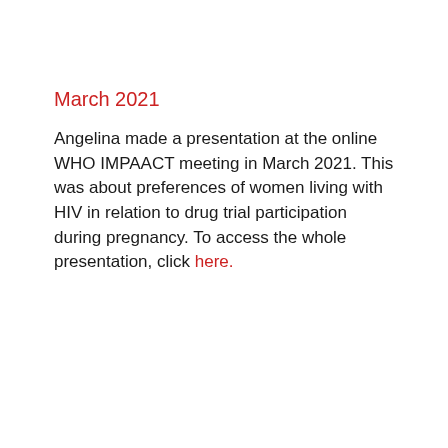March 2021
Angelina made a presentation at the online WHO IMPAACT meeting in March 2021. This was about preferences of women living with HIV in relation to drug trial participation during pregnancy. To access the whole presentation, click here.